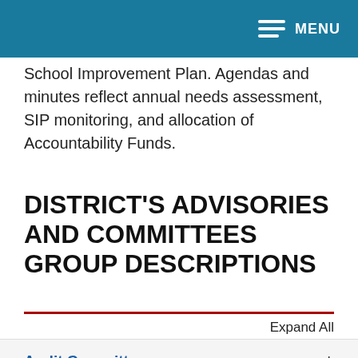MENU
School Improvement Plan. Agendas and minutes reflect annual needs assessment, SIP monitoring, and allocation of Accountability Funds.
DISTRICT'S ADVISORIES AND COMMITTEES GROUP DESCRIPTIONS
Expand All
Audit Committee
Area Advisory Council